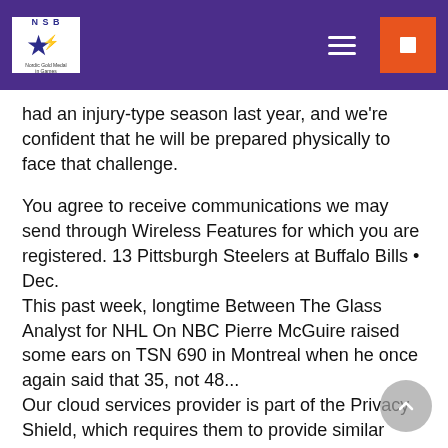NSB
had an injury-type season last year, and we're confident that he will be prepared physically to face that challenge.
You agree to receive communications we may send through Wireless Features for which you are registered. 13 Pittsburgh Steelers at Buffalo Bills • Dec. This past week, longtime Between The Glass Analyst for NHL On NBC Pierre McGuire raised some ears on TSN 690 in Montreal when he once again said that 35, not 48... Our cloud services provider is part of the Privacy Shield, which requires them to provide similar protection to personal data shared between Europe and the US.
MLB Planning For Fan Attendance In 2021 Commissioner Rob Manfred took a judicious approach to allowing fans into stadiums in 2020, and it's hard to argue that it wasn't